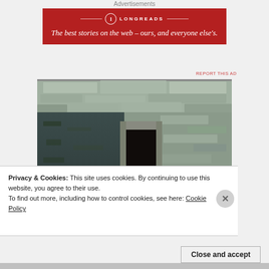Advertisements
[Figure (other): Longreads advertisement banner — red background with Longreads logo and text: The best stories on the web – ours, and everyone else's.]
REPORT THIS AD
[Figure (photo): Photograph of ancient stone ruins showing stone walls and a dark doorway opening, with rubble on the ground.]
Privacy & Cookies: This site uses cookies. By continuing to use this website, you agree to their use.
To find out more, including how to control cookies, see here: Cookie Policy
Close and accept